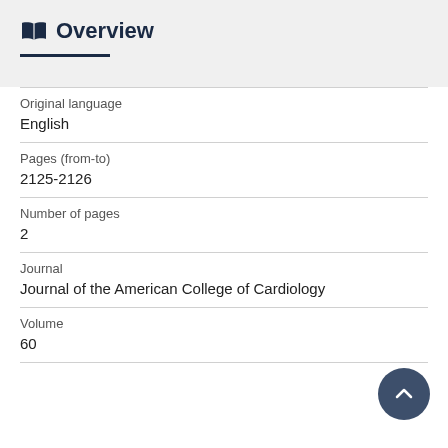Overview
Original language
English
Pages (from-to)
2125-2126
Number of pages
2
Journal
Journal of the American College of Cardiology
Volume
60